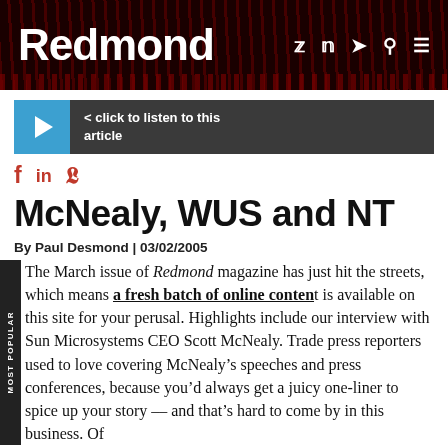Redmond
[Figure (other): Audio player button: click to listen to this article]
[Figure (other): Social sharing icons: f (Facebook), in (LinkedIn), y (Twitter/X)]
McNealy, WUS and NT
By Paul Desmond | 03/02/2005
The March issue of Redmond magazine has just hit the streets, which means a fresh batch of online content is available on this site for your perusal. Highlights include our interview with Sun Microsystems CEO Scott McNealy. Trade press reporters used to love covering McNealy’s speeches and press conferences, because you’d always get a juicy one-liner to spice up your story -- and that’s hard to come by in this business. Of